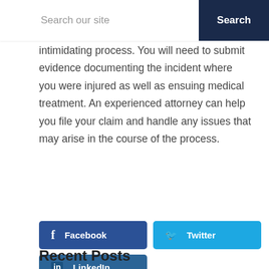Search our site | Search
intimidating process. You will need to submit evidence documenting the incident where you were injured as well as ensuing medical treatment. An experienced attorney can help you file your claim and handle any issues that may arise in the course of the process.
[Figure (infographic): Social media share buttons: Facebook (dark blue), Twitter (light blue), LinkedIn (medium blue)]
Recent Posts